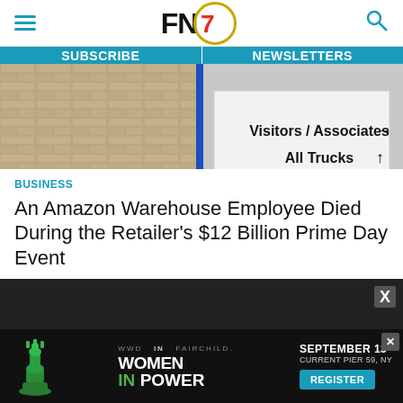FNZ logo header with hamburger menu and search icon
SUBSCRIBE | NEWSLETTERS
[Figure (photo): Amazon warehouse exterior showing a directional sign: 'Visitors / Associates →', 'All Trucks ↑', and 'POWDER PLANT ROAD' text visible, alongside a brick or stone wall]
BUSINESS
An Amazon Warehouse Employee Died During the Retailer's $12 Billion Prime Day Event
[Figure (infographic): Advertisement banner for 'Women In Power' event, September 13, Current Pier 59, NY with Register button. Features chess queen piece icon and logos for WWD, IN, FAIRCHILD.]